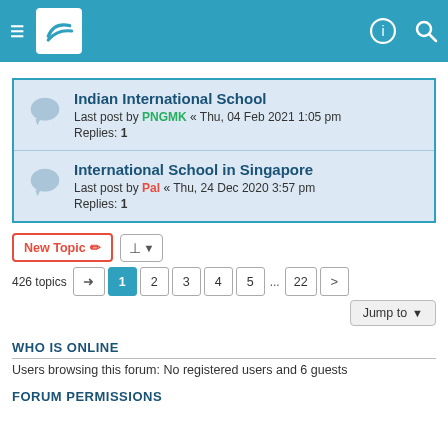Forum header navigation bar
Indian International School — Last post by PNGMK « Thu, 04 Feb 2021 1:05 pm — Replies: 1
International School in Singapore — Last post by Pal « Thu, 24 Dec 2020 3:57 pm — Replies: 1
New Topic | Sort controls | 426 topics | Pagination: 1 2 3 4 5 ... 22 > | Jump to
WHO IS ONLINE
Users browsing this forum: No registered users and 6 guests
FORUM PERMISSIONS